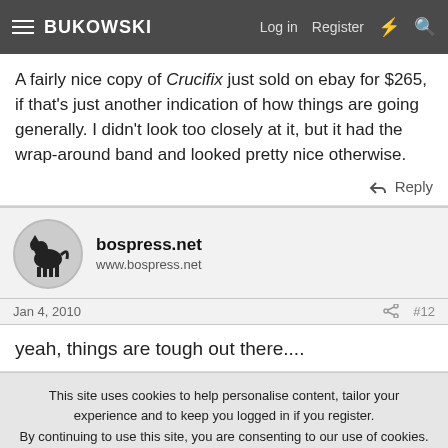BUKOWSKI — Log in  Register
A fairly nice copy of Crucifix just sold on ebay for $265, if that's just another indication of how things are going generally. I didn't look too closely at it, but it had the wrap-around band and looked pretty nice otherwise.
Reply
bospress.net
www.bospress.net
Jan 4, 2010  #12
yeah, things are tough out there....
This site uses cookies to help personalise content, tailor your experience and to keep you logged in if you register.
By continuing to use this site, you are consenting to our use of cookies.
✓ Accept   Learn more...